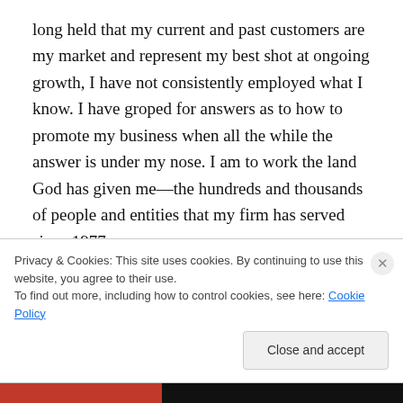long held that my current and past customers are my market and represent my best shot at ongoing growth, I have not consistently employed what I know. I have groped for answers as to how to promote my business when all the while the answer is under my nose. I am to work the land God has given me—the hundreds and thousands of people and entities that my firm has served since 1977.

“He who works his land will have plenty of food.” The person who works his customers (in a good way) will have
Privacy & Cookies: This site uses cookies. By continuing to use this website, you agree to their use.
To find out more, including how to control cookies, see here: Cookie Policy